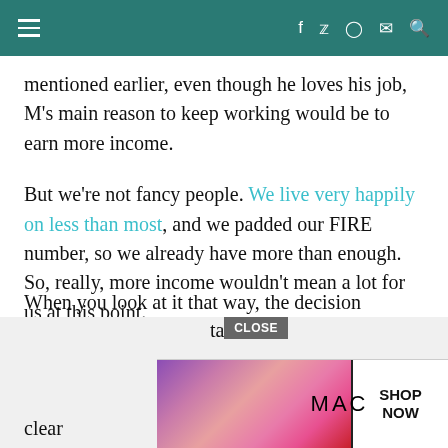≡  f  🐦  📷  ✉  🔍
mentioned earlier, even though he loves his job, M's main reason to keep working would be to earn more income.
But we're not fancy people. We live very happily on less than most, and we padded our FIRE number, so we already have more than enough. So, really, more income wouldn't mean a lot for us at this point.
What it would mean is M giving up precious time with his loved ones. But for what? More money that we don't need? For us, that's not a worthwhile trade-off. When you look at it that way, the decision... [al
clear
[Figure (screenshot): MAC cosmetics advertisement banner showing lipsticks, MAC logo, SHOP NOW button, and CLOSE button overlay]